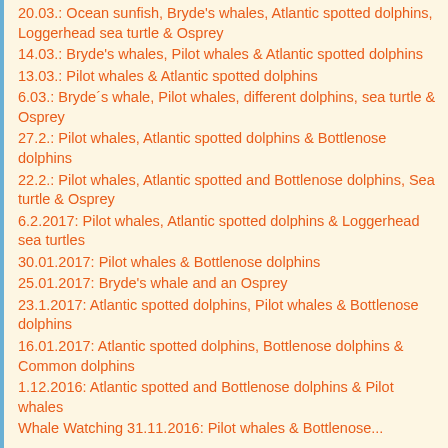20.03.: Ocean sunfish, Bryde's whales, Atlantic spotted dolphins, Loggerhead sea turtle & Osprey
14.03.: Bryde's whales, Pilot whales & Atlantic spotted dolphins
13.03.: Pilot whales & Atlantic spotted dolphins
6.03.: Bryde´s whale, Pilot whales, different dolphins, sea turtle & Osprey
27.2.: Pilot whales, Atlantic spotted dolphins & Bottlenose dolphins
22.2.: Pilot whales, Atlantic spotted and Bottlenose dolphins, Sea turtle & Osprey
6.2.2017: Pilot whales, Atlantic spotted dolphins & Loggerhead sea turtles
30.01.2017: Pilot whales & Bottlenose dolphins
25.01.2017: Bryde's whale and an Osprey
23.1.2017: Atlantic spotted dolphins, Pilot whales & Bottlenose dolphins
16.01.2017: Atlantic spotted dolphins, Bottlenose dolphins & Common dolphins
1.12.2016: Atlantic spotted and Bottlenose dolphins & Pilot whales
Whale Watching 31.11.2016: Pilot whales & Bottlenose...